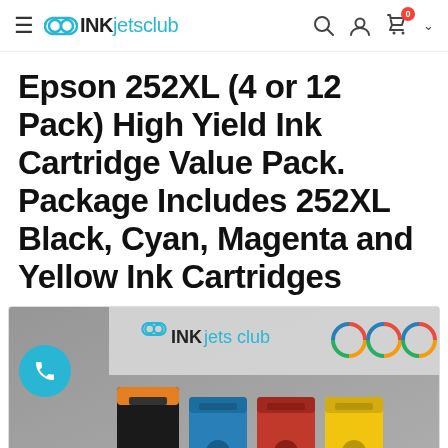INK jets club — navigation header with search, account, and cart icons
Epson 252XL (4 or 12 Pack) High Yield Ink Cartridge Value Pack. Package Includes 252XL Black, Cyan, Magenta and Yellow Ink Cartridges
[Figure (photo): Product photo of Epson 252XL ink cartridges (black, cyan, magenta, yellow) with INK jets club branding banner and colorful circle icons]